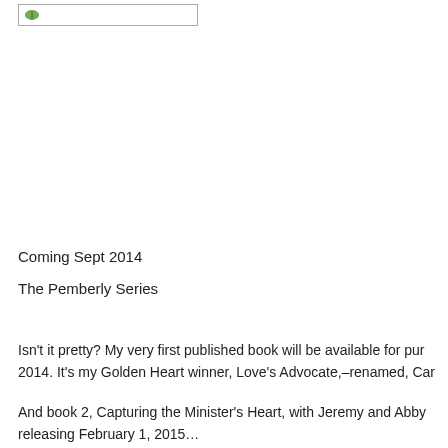[Figure (logo): Small green leaf/plant logo in a bordered rectangle at top left]
Coming Sept 2014
The Pemberly Series
Isn't it pretty? My very first published book will be available for pur 2014. It's my Golden Heart winner, Love's Advocate,–renamed, Car
And book 2, Capturing the Minister's Heart, with Jeremy and Abby releasing February 1, 2015…